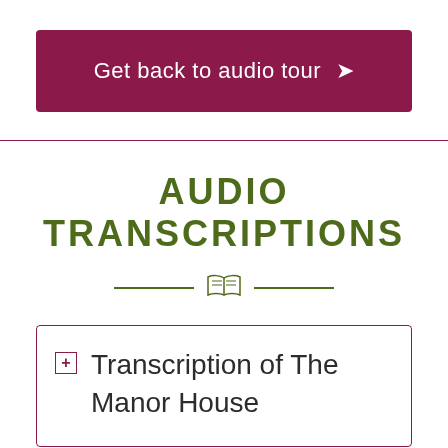Get back to audio tour →
AUDIO TRANSCRIPTIONS
Transcription of The Manor House